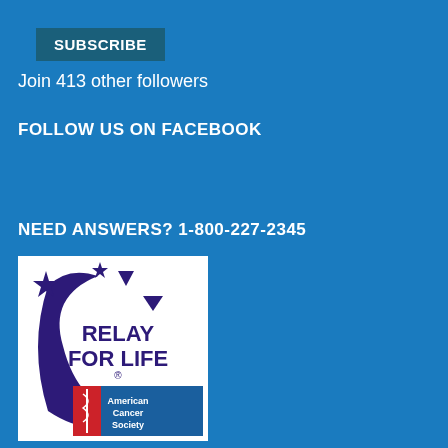SUBSCRIBE
Join 413 other followers
FOLLOW US ON FACEBOOK
NEED ANSWERS? 1-800-227-2345
[Figure (logo): Relay For Life American Cancer Society logo — purple crescent moon with stars and triangles on white background, with red/blue banner showing American Cancer Society name and caduceus symbol]
The phone lines are open every minute of every day to help